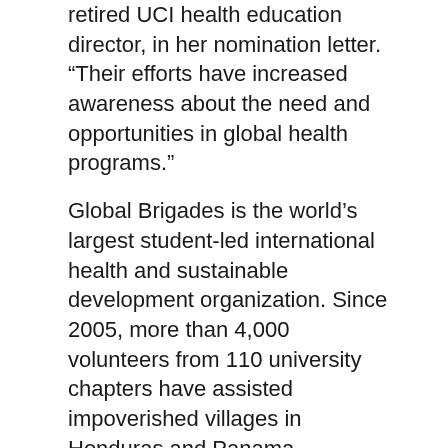retired UCI health education director, in her nomination letter. “Their efforts have increased awareness about the need and opportunities in global health programs.”
Global Brigades is the world’s largest student-led international health and sustainable development organization. Since 2005, more than 4,000 volunteers from 110 university chapters have assisted impoverished villages in Honduras and Panama.
The multidisciplinary program serves a host of health and wellness needs, says Alipio, a student in criminology, law & society (since graduated) when he founded of UCI’s public health brigade.
“Global Brigades takes a holistic approach to outreach that makes it unique among humanitarian organizations,” he says. “We provide mobile clinics, for example, but we also provide health education so communities can sustain themselves.”
Such education often involves performing skits to